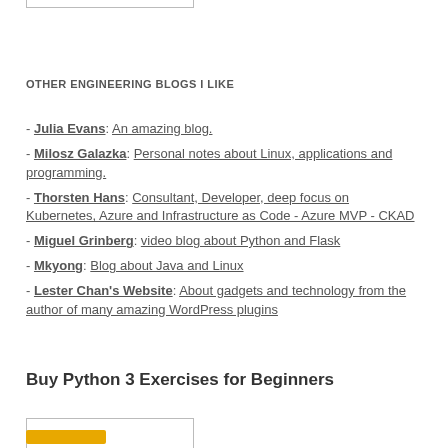OTHER ENGINEERING BLOGS I LIKE
- Julia Evans: An amazing blog.
- Milosz Galazka: Personal notes about Linux, applications and programming.
- Thorsten Hans: Consultant, Developer, deep focus on Kubernetes, Azure and Infrastructure as Code - Azure MVP - CKAD
- Miguel Grinberg: video blog about Python and Flask
- Mkyong: Blog about Java and Linux
- Lester Chan's Website: About gadgets and technology from the author of many amazing WordPress plugins
Buy Python 3 Exercises for Beginners